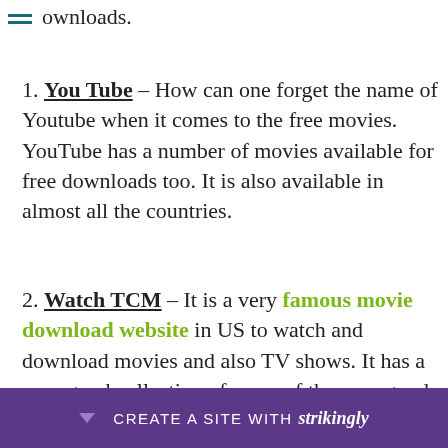you only the legal websites for movie downloads.
1. You Tube – How can one forget the name of Youtube when it comes to the free movies. YouTube has a number of movies available for free downloads too. It is also available in almost all the countries.
2. Watch TCM – It is a very famous movie download website in US to watch and download movies and also TV shows. It has a very good collection of some of the very good movies. But this site is only avai…
CREATE A SITE WITH strikingly